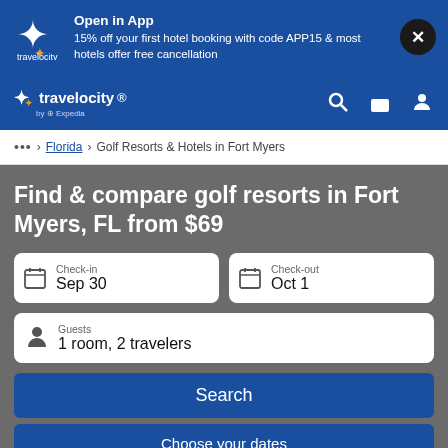Open in App
15% off your first hotel booking with code APP15 & most hotels offer free cancellation
[Figure (logo): Travelocity logo with star icon in white on blue banner]
travelocity by Expedia
... > Florida > Golf Resorts & Hotels in Fort Myers
Find & compare golf resorts in Fort Myers, FL from $69
Check-in
Sep 30
Check-out
Oct 1
Guests
1 room, 2 travelers
Search
Choose your dates